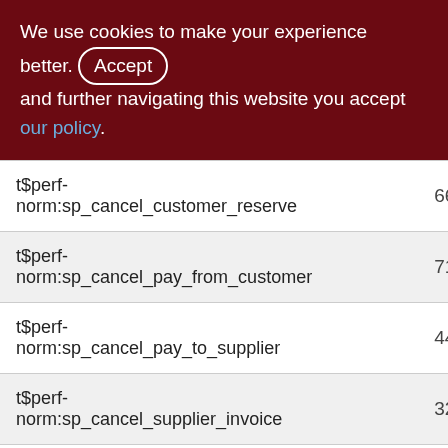We use cookies to make your experience better. By accepting and further navigating this website you accept our policy.
| Procedure | Value1 | Value2 |
| --- | --- | --- |
| t$perf-norm:sp_cancel_customer_reserve | 669 | 6 |
| t$perf-norm:sp_cancel_pay_from_customer | 712 | 7 |
| t$perf-norm:sp_cancel_pay_to_supplier | 445 | 4 |
| t$perf-norm:sp_cancel_supplier_invoice | 320 | 3 |
| t$perf-norm:sp_cancel_supplier_order | 215 | 2 |
| t$perf-norm:sp_cancel_write_off | 1082 | 10 |